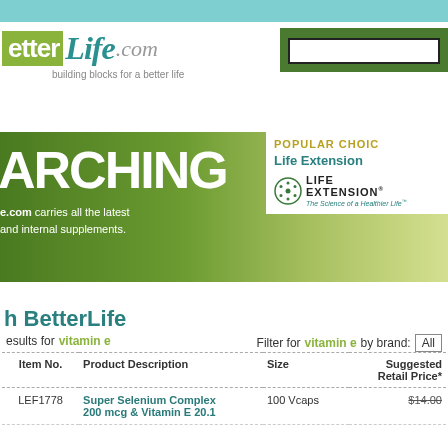[Figure (logo): BetterLife.com logo with orange and green color blocks, teal Life text, tagline: building blocks for a better life]
[Figure (screenshot): Green gradient banner with text ARCHING and subtext about betterlife.com supplements]
POPULAR CHOICES
Life Extension
[Figure (logo): Life Extension logo - The Science of a Healthier Life]
h BetterLife
results for vitamin e
Filter for vitamin e by brand: All
| Item No. | Product Description | Size | Suggested Retail Price* |
| --- | --- | --- | --- |
| LEF1778 | Super Selenium Complex 200 mcg & Vitamin E 20.1 | 100 Vcaps | $14.00 |